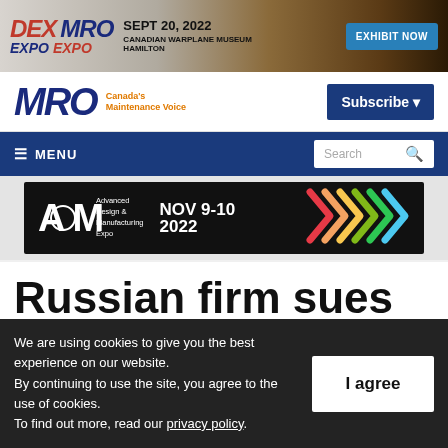[Figure (illustration): DEX MRO EXPO banner ad: SEPT 20, 2022 Canadian Warplane Museum Hamilton. Exhibit Now button. Red and blue logo on warm brown background.]
[Figure (logo): MRO Magazine logo - Canada's Maintenance Voice with Subscribe button]
[Figure (screenshot): Navigation menu bar with MENU and Search box on dark blue background]
[Figure (illustration): ADM Advanced Design & Manufacturing Expo banner: NOV 9-10 2022 with colorful chevrons on dark background]
Russian firm sues
We are using cookies to give you the best experience on our website.
By continuing to use the site, you agree to the use of cookies.
To find out more, read our privacy policy.